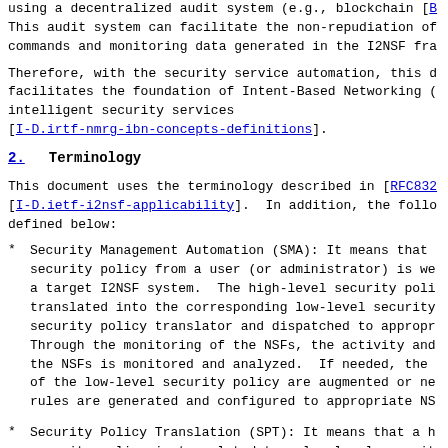using a decentralized audit system (e.g., blockchain [B
This audit system can facilitate the non-repudiation of
commands and monitoring data generated in the I2NSF fra
Therefore, with the security service automation, this d
facilitates the foundation of Intent-Based Networking (
intelligent security services
[I-D.irtf-nmrg-ibn-concepts-definitions].
2.  Terminology
This document uses the terminology described in [RFC832
[I-D.ietf-i2nsf-applicability].  In addition, the follo
defined below:
Security Management Automation (SMA): It means that
security policy from a user (or administrator) is we
a target I2NSF system.  The high-level security poli
translated into the corresponding low-level security
security policy translator and dispatched to appropr
Through the monitoring of the NSFs, the activity and
the NSFs is monitored and analyzed.  If needed, the
of the low-level security policy are augmented or ne
rules are generated and configured to appropriate NS
Security Policy Translation (SPT): It means that a h
security policy is translated to a low-level securit
can be understood and configured by an NSF for a spe
service, such as firewall, web filter, deep packet i
DDoS-attack mitigation, and anti-virus.